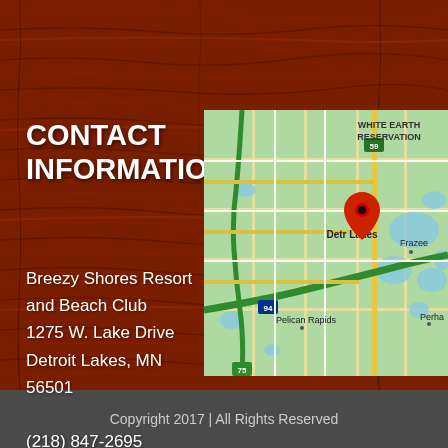CONTACT INFORMATION:
Breezy Shores Resort and Beach Club
1275 W. Lake Drive
Detroit Lakes, MN 56501

(218) 847-2695
[Figure (map): Google Maps screenshot showing Detroit Lakes, MN area with a red location pin, showing White Earth Reservation to the north, Pelican Rapids to the south, Frazee to the east, and I-94 and Highway 59 visible.]
Copyright 2017 | All Rights Reserved